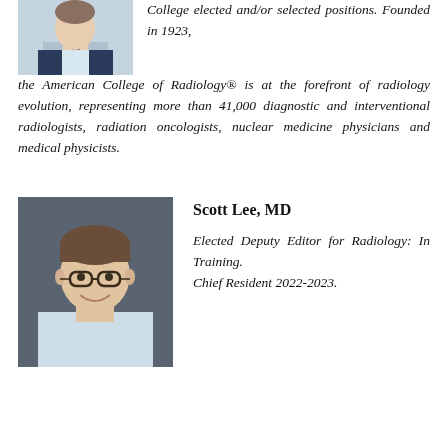[Figure (photo): Portrait photo of a man in a suit and tie, cropped at upper body, light blue/grey background]
College elected and/or selected positions. Founded in 1923, the American College of Radiology® is at the forefront of radiology evolution, representing more than 41,000 diagnostic and interventional radiologists, radiation oncologists, nuclear medicine physicians and medical physicists.
[Figure (photo): Portrait photo of Scott Lee, MD, a smiling man with glasses and short brown hair wearing a light blue shirt, against a dark grey background]
Scott Lee, MD
Elected Deputy Editor for Radiology: In Training. Chief Resident 2022-2023.